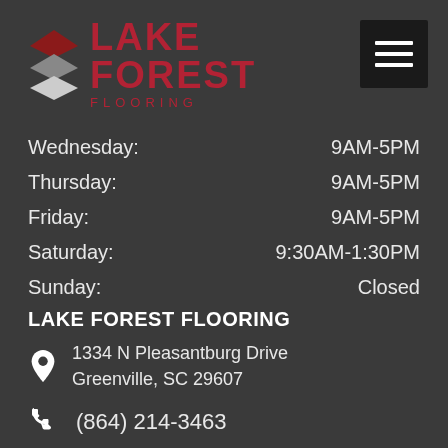[Figure (logo): Lake Forest Flooring logo with layered diamond shapes in red and gray, and red text reading LAKE FOREST FLOORING]
[Figure (other): Hamburger menu icon (three white horizontal lines on black background)]
| Day | Hours |
| --- | --- |
| Wednesday: | 9AM-5PM |
| Thursday: | 9AM-5PM |
| Friday: | 9AM-5PM |
| Saturday: | 9:30AM-1:30PM |
| Sunday: | Closed |
LAKE FOREST FLOORING
1334 N Pleasantburg Drive Greenville, SC 29607
(864) 214-3463